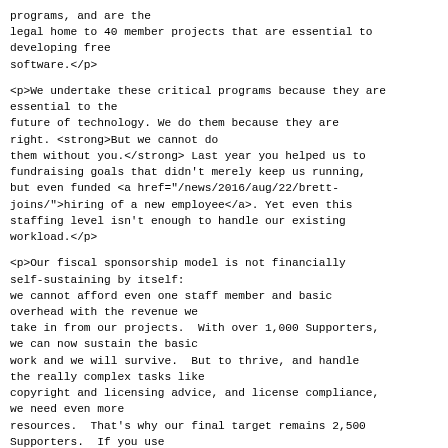programs, and are the legal home to 40 member projects that are essential to developing free software.</p>
<p>We undertake these critical programs because they are essential to the future of technology. We do them because they are right. <strong>But we cannot do them without you.</strong> Last year you helped us to fundraising goals that didn't merely keep us running, but even funded <a href="/news/2016/aug/22/brett-joins/">hiring of a new employee</a>. Yet even this staffing level isn't enough to handle our existing workload.</p>
<p>Our fiscal sponsorship model is not financially self-sustaining by itself: we cannot afford even one staff member and basic overhead with the revenue we take in from our projects.  With over 1,000 Supporters, we can now sustain the basic work and we will survive.  But to thrive, and handle the really complex tasks like copyright and licensing advice, and license compliance, we need even more resources.  That's why our final target remains 2,500 Supporters.  If you use or care about our <a href="/members/current/">member projects</a>, which